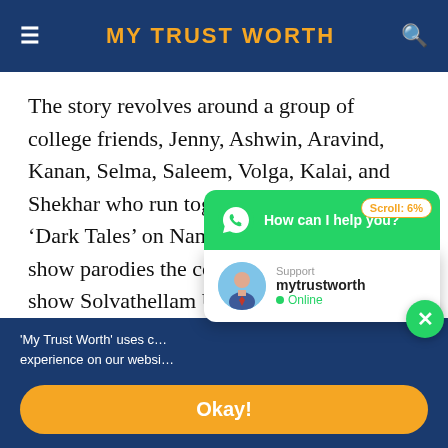MY TRUST WORTH
The story revolves around a group of college friends, Jenny, Ashwin, Aravind, Kanan, Selma, Saleem, Volga, Kalai, and Shekhar who run together a reality show ‘Dark Tales’ on Nam TV. The format of the show parodies the controversial Tamil talk show Solvathellam Unmai, where common people discuss their intimate family...
[Figure (screenshot): WhatsApp chat widget popup with green header showing 'How can I help you?', scroll badge showing 'Scroll: 6%', and support agent 'mytrustworth' shown as Online]
'My Trust Worth' uses c... experience on our websi...
Okay!